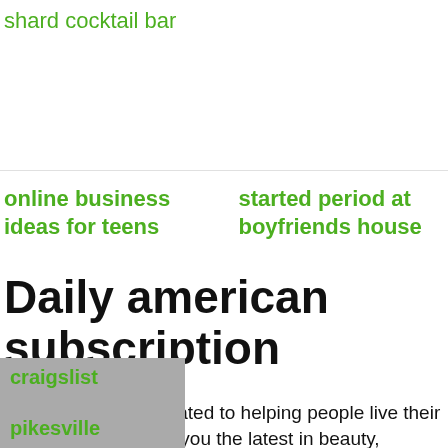shard cocktail bar
online business ideas for teens
started period at boyfriends house
Daily american subscription
Oprah Daily is dedicated to helping people live their best lives, delivering you the latest in beauty, wellness, culture, news, and more. ... About Us Contact Us Subscribe Customer
craigslist
pikesville